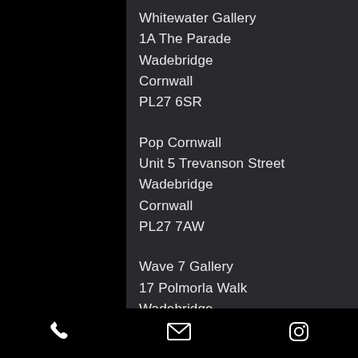Whitewater Gallery
1A The Parade
Wadebridge
Cornwall
PL27 6SR
Pop Cornwall
Unit 5 Trevanson Street
Wadebridge
Cornwall
PL27 7AW
Wave 7 Gallery
17 Polmorla Walk
Wadebridge
Cornwall
PL27 7NS
Driftwood Gallery
Acorn Cottage
Penrose
Wadebridge
Cornwall
Phone | Email | Instagram